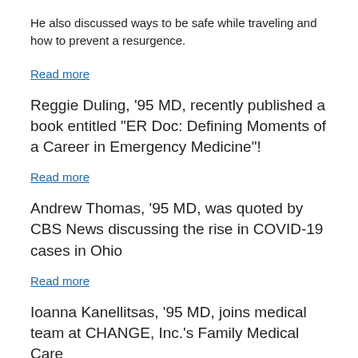He also discussed ways to be safe while traveling and how to prevent a resurgence.
Read more
Reggie Duling, ‘95 MD, recently published a book entitled “ER Doc: Defining Moments of a Career in Emergency Medicine”!
Read more
Andrew Thomas, ‘95 MD, was quoted by CBS News discussing the rise in COVID-19 cases in Ohio
Read more
Ioanna Kanellitsas, ‘95 MD, joins medical team at CHANGE, Inc.’s Family Medical Care
CHANGE, Inc. is proud to welcome their newest OB/GYN physician, Dr. Ioanna Kanellitsas, to the Family Medical Care team.